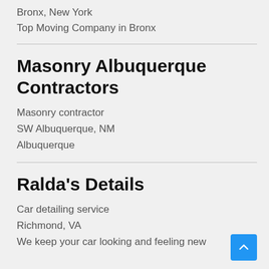Bronx, New York
Top Moving Company in Bronx
Masonry Albuquerque Contractors
Masonry contractor
SW Albuquerque, NM
Albuquerque
Ralda's Details
Car detailing service
Richmond, VA
We keep your car looking and feeling new